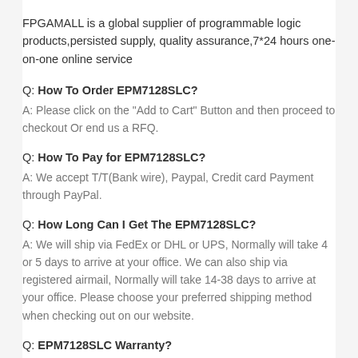FPGAMALL is a global supplier of programmable logic products,persisted supply, quality assurance,7*24 hours one-on-one online service
Q: How To Order EPM7128SLC?
A: Please click on the "Add to Cart" Button and then proceed to checkout Or end us a RFQ.
Q: How To Pay for EPM7128SLC?
A: We accept T/T(Bank wire), Paypal, Credit card Payment through PayPal.
Q: How Long Can I Get The EPM7128SLC?
A: We will ship via FedEx or DHL or UPS, Normally will take 4 or 5 days to arrive at your office. We can also ship via registered airmail, Normally will take 14-38 days to arrive at your office. Please choose your preferred shipping method when checking out on our website.
Q: EPM7128SLC Warranty?
A: We Provide 7x24-hr service and 365 days warranty for our product.